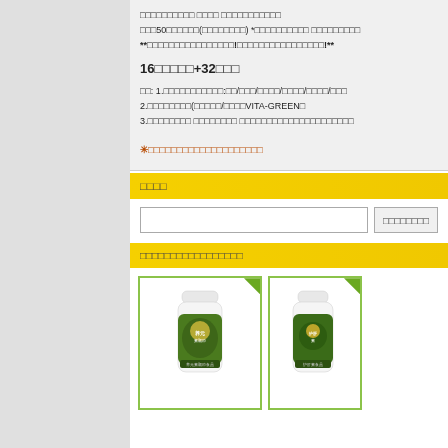□□□□□□□□□□ □□□□ □□□□□□□□□□□ □□□50□□□□□□(□□□□□□□□) *□□□□□□□□□□ □□□□□□□□□ **□□□□□□□□□□□□□□□□!□□□□□□□□□□□□□□□□!**
16□□□□□+32□□□
□□: 1.□□□□□□□□□□□:□□/□□□/□□□□/□□□□/□□□□/□□□ 2.□□□□□□□□(□□□□□/□□□□VITA-GREEN□ 3.□□□□□□□□ □□□□□□□□ □□□□□□□□□□□□□□□□□□□□□
*□□□□□□□□□□□□□□□□□□□□
□□□□
□□□□□□□□
□□□□□□□□□□□□□□□□□
[Figure (photo): Product bottle with green label - Chinese herbal supplement]
[Figure (photo): Product bottle with green label - Chinese herbal supplement (partially visible)]